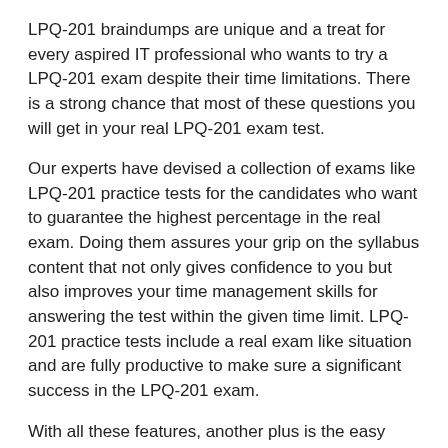LPQ-201 braindumps are unique and a treat for every aspired IT professional who wants to try a LPQ-201 exam despite their time limitations. There is a strong chance that most of these questions you will get in your real LPQ-201 exam test.
Our experts have devised a collection of exams like LPQ-201 practice tests for the candidates who want to guarantee the highest percentage in the real exam. Doing them assures your grip on the syllabus content that not only gives confidence to you but also improves your time management skills for answering the test within the given time limit. LPQ-201 practice tests include a real exam like situation and are fully productive to make sure a significant success in the LPQ-201 exam.
With all these features, another plus is the easy accessibility of DumpsArena's products. They are instantly downloadable and supported with our online customers service to answer your queries promptly. Your preparation for exam LPQ-201 with DumpsArena will surely be worth-remembering experience for you!
Pass CIW Certification Exam LPQ-201 Braindumps
Simply make sure your grasp on the IT braindumps devised the best by IT experts allowing you to 1000+ practice exams and the CIW...